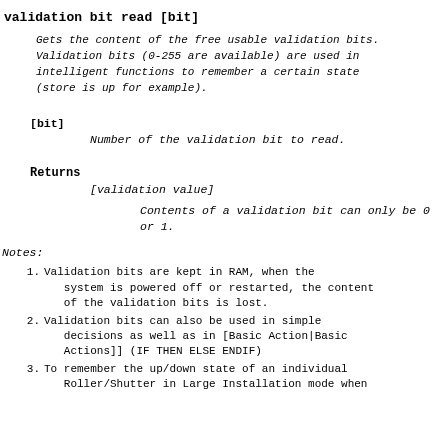validation bit read [bit]
Gets the content of the free usable validation bits. Validation bits (0-255 are available) are used in intelligent functions to remember a certain state (store is up for example).
[bit]
Number of the validation bit to read.
Returns
[validation value]
Contents of a validation bit can only be 0 or 1.
Notes:
Validation bits are kept in RAM, when the system is powered off or restarted, the content of the validation bits is lost.
Validation bits can also be used in simple decisions as well as in [Basic Action|Basic Actions]] (IF THEN ELSE ENDIF)
To remember the up/down state of an individual Roller/Shutter in Large Installation mode when